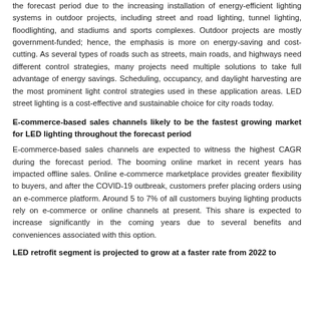the forecast period due to the increasing installation of energy-efficient lighting systems in outdoor projects, including street and road lighting, tunnel lighting, floodlighting, and stadiums and sports complexes. Outdoor projects are mostly government-funded; hence, the emphasis is more on energy-saving and cost-cutting. As several types of roads such as streets, main roads, and highways need different control strategies, many projects need multiple solutions to take full advantage of energy savings. Scheduling, occupancy, and daylight harvesting are the most prominent light control strategies used in these application areas. LED street lighting is a cost-effective and sustainable choice for city roads today.
E-commerce-based sales channels likely to be the fastest growing market for LED lighting throughout the forecast period
E-commerce-based sales channels are expected to witness the highest CAGR during the forecast period. The booming online market in recent years has impacted offline sales. Online e-commerce marketplace provides greater flexibility to buyers, and after the COVID-19 outbreak, customers prefer placing orders using an e-commerce platform. Around 5 to 7% of all customers buying lighting products rely on e-commerce or online channels at present. This share is expected to increase significantly in the coming years due to several benefits and conveniences associated with this option.
LED retrofit segment is projected to grow at a faster rate from 2022 to